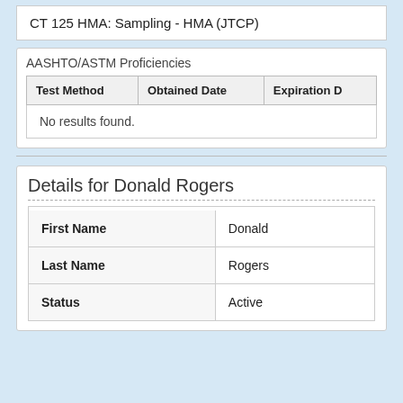CT 125 HMA: Sampling - HMA (JTCP)
| Test Method | Obtained Date | Expiration D |
| --- | --- | --- |
| No results found. |  |  |
Details for Donald Rogers
| First Name | Donald |
| Last Name | Rogers |
| Status | Active |